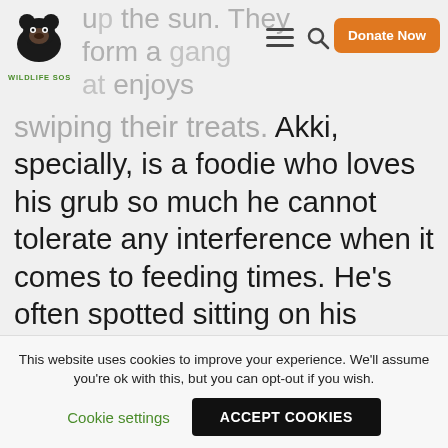Wildlife SOS - navigation header with logo, menu, search, and Donate Now button
up the sun. They form a gang that enjoys pranking others and swiping their treats. Akki, specially, is a foodie who loves his grub so much he cannot tolerate any interference when it comes to feeding times. He’s often spotted sitting on his haunches, waiting with bated breath for his keeper to turn up with the honey laced porridge he loves so much.
Akki is very food motivated – he loves treats in the form of honey and dates. His favourite companion is from... Robb...
This website uses cookies to improve your experience. We'll assume you're ok with this, but you can opt-out if you wish.